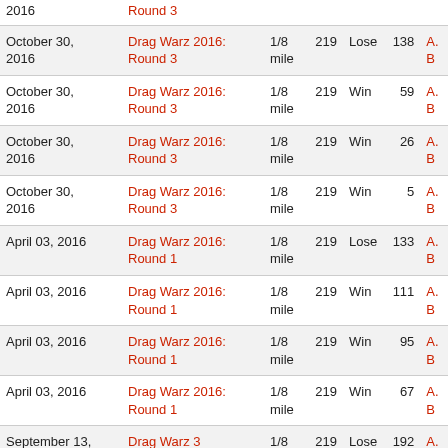| Date | Event | Distance | Num | Result | Pts |  |
| --- | --- | --- | --- | --- | --- | --- |
| 2016 | Round 3 |  |  |  |  |  |
| October 30, 2016 | Drag Warz 2016: Round 3 | 1/8 mile | 219 | Lose | 138 | A. B |
| October 30, 2016 | Drag Warz 2016: Round 3 | 1/8 mile | 219 | Win | 59 | A. B |
| October 30, 2016 | Drag Warz 2016: Round 3 | 1/8 mile | 219 | Win | 26 | A. B |
| October 30, 2016 | Drag Warz 2016: Round 3 | 1/8 mile | 219 | Win | 5 | A. B |
| April 03, 2016 | Drag Warz 2016: Round 1 | 1/8 mile | 219 | Lose | 133 | A. B |
| April 03, 2016 | Drag Warz 2016: Round 1 | 1/8 mile | 219 | Win | 111 | A. B |
| April 03, 2016 | Drag Warz 2016: Round 1 | 1/8 mile | 219 | Win | 95 | A. B |
| April 03, 2016 | Drag Warz 2016: Round 1 | 1/8 mile | 219 | Win | 67 | A. B |
| September 13, 2015 | Drag Warz 3 | 1/8 mile | 219 | Lose | 192 | A. B |
| September 13, 2015 | Drag Warz 3 | 1/8 mile | 219 | Win | 172 | A. B |